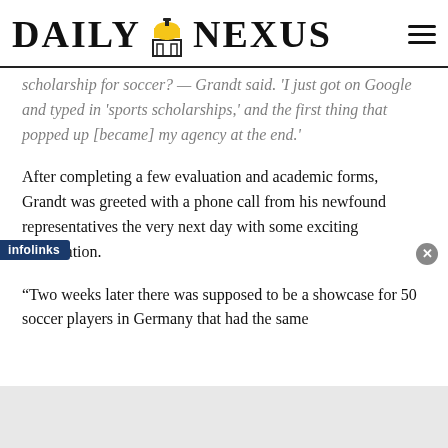DAILY NEXUS
scholarship for soccer? — Grandt said. 'I just got on Google and typed in 'sports scholarships,' and the first thing that popped up [became] my agency at the end.'
After completing a few evaluation and academic forms, Grandt was greeted with a phone call from his newfound representatives the very next day with some exciting information.
“Two weeks later there was supposed to be a showcase for 50 soccer players in Germany that had the same